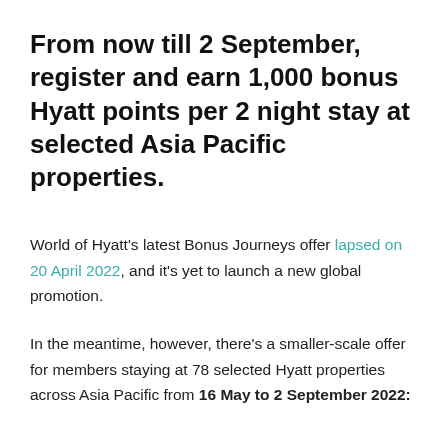From now till 2 September, register and earn 1,000 bonus Hyatt points per 2 night stay at selected Asia Pacific properties.
World of Hyatt's latest Bonus Journeys offer lapsed on 20 April 2022, and it's yet to launch a new global promotion.
In the meantime, however, there's a smaller-scale offer for members staying at 78 selected Hyatt properties across Asia Pacific from 16 May to 2 September 2022: